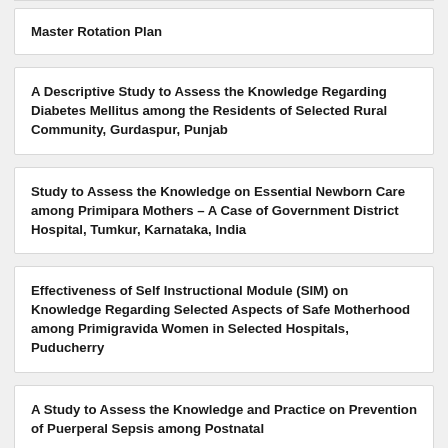Master Rotation Plan
A Descriptive Study to Assess the Knowledge Regarding Diabetes Mellitus among the Residents of Selected Rural Community, Gurdaspur, Punjab
Study to Assess the Knowledge on Essential Newborn Care among Primipara Mothers – A Case of Government District Hospital, Tumkur, Karnataka, India
Effectiveness of Self Instructional Module (SIM) on Knowledge Regarding Selected Aspects of Safe Motherhood among Primigravida Women in Selected Hospitals, Puducherry
A Study to Assess the Knowledge and Practice on Prevention of Puerperal Sepsis among Postnatal